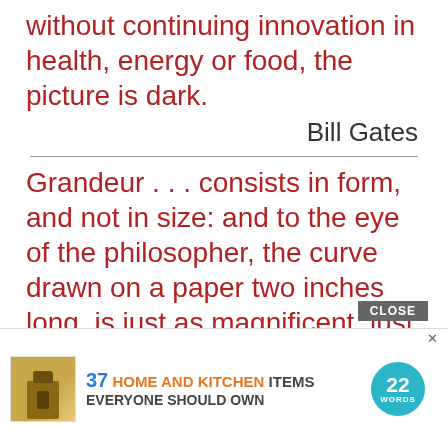without continuing innovation in health, energy or food, the picture is dark.
Bill Gates
Grandeur . . . consists in form, and not in size: and to the eye of the philosopher, the curve drawn on a paper two inches long, is just as magnificent, just as symbolic of divine mysteries and melodies, as when embodied in the span of some cathedral roof.
Charles Kingsley
Anything made out of destructible m... Infinit... But if the atoms that make and replenish the world Have endured through the immense span of
[Figure (screenshot): Advertisement overlay: '37 HOME AND KITCHEN ITEMS EVERYONE SHOULD OWN' with 22 Words logo and a CLOSE button]